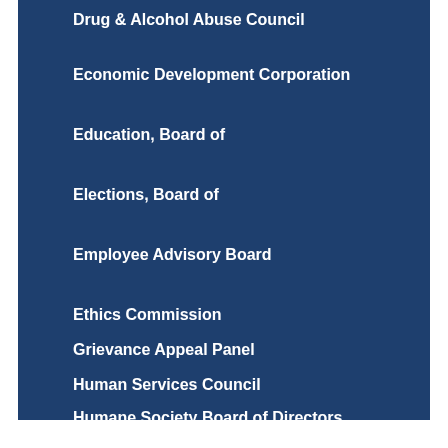Drug & Alcohol Abuse Council
Economic Development Corporation
Education, Board of
Elections, Board of
Employee Advisory Board
Ethics Commission
Grievance Appeal Panel
Human Services Council
Humane Society Board of Directors